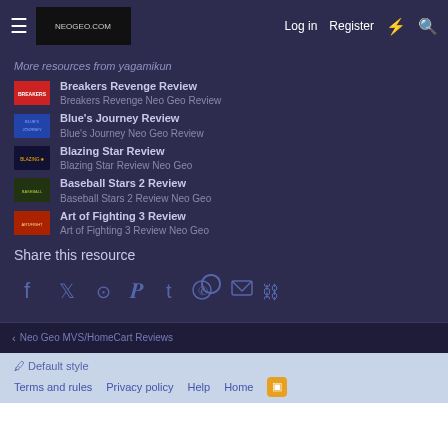Log in  Register
More resources from yagamikun
Breakers Revenge Review
Breakers Revenge Neo Geo Review
Blue's Journey Review
Blue's Journey Neo Geo Review
Blazing Star Review
Blazing Star Review Neo Geo
Baseball Stars 2 Review
Baseball Stars 2 Review Neo Geo
Art of Fighting 3 Review
Art of Fighting 3 Review Neo Geo
Share this resource
[Figure (infographic): Social share icons: Facebook, Twitter, Reddit, Pinterest, Tumblr, WhatsApp, Email, Link]
Neo Geo MVS/HomeCart Reviews
Default style  Terms and rules  Privacy policy  Help  Home